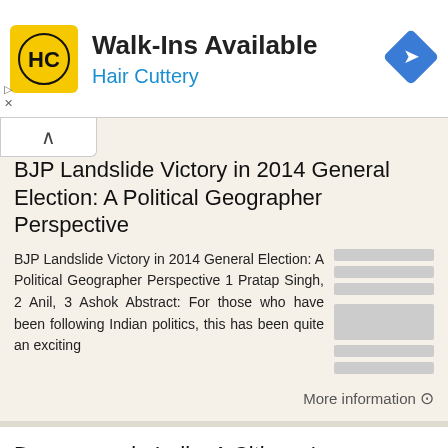[Figure (screenshot): Hair Cuttery advertisement banner with logo, 'Walk-Ins Available' text, blue 'Hair Cuttery' subtitle, and navigation arrow icon]
BJP Landslide Victory in 2014 General Election: A Political Geographer Perspective
BJP Landslide Victory in 2014 General Election: A Political Geographer Perspective 1 Pratap Singh, 2 Anil, 3 Ashok Abstract: For those who have been following Indian politics, this has been quite an exciting
More information →
Democracy in India: A Citizens' Perspective APPENDICES. Lokniti : Centre for the Study of Developing Societies (CSDS)
Democracy in India: A Citizens' Perspective